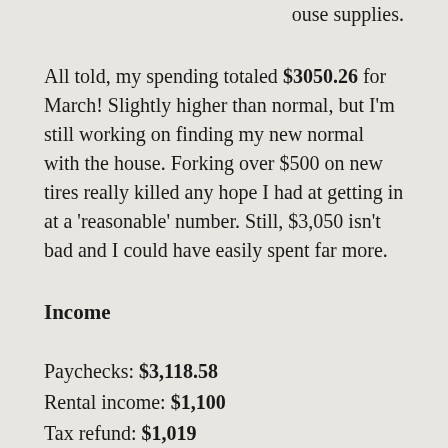ouse supplies.
All told, my spending totaled $3050.26 for March! Slightly higher than normal, but I'm still working on finding my new normal with the house. Forking over $500 on new tires really killed any hope I had at getting in at a 'reasonable' number. Still, $3,050 isn't bad and I could have easily spent far more.
Income
Paychecks: $3,118.58
Rental income: $1,100
Tax refund: $1,019
Misc: $101.68